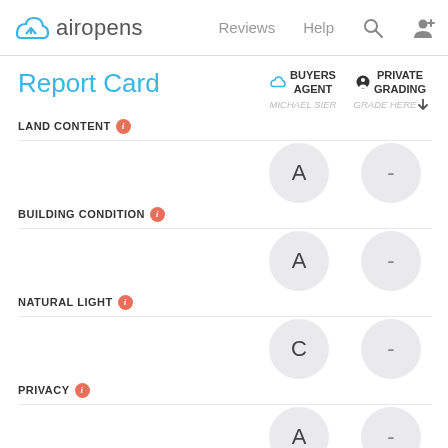airopens  Reviews  Help
Report Card
BUYERS AGENT — MICHAEL SIER | PRIVATE GRADING — GRADE HERE
LAND CONTENT — A / -
BUILDING CONDITION — A / -
NATURAL LIGHT — C / -
PRIVACY — A / -
FLOORPLAN INTERNAL FLOW — C / -